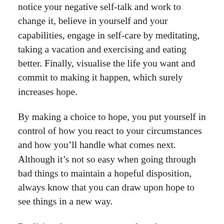notice your negative self-talk and work to change it, believe in yourself and your capabilities, engage in self-care by meditating, taking a vacation and exercising and eating better. Finally, visualise the life you want and commit to making it happen, which surely increases hope.
By making a choice to hope, you put yourself in control of how you react to your circumstances and how you’ll handle what comes next. Although it’s not so easy when going through bad things to maintain a hopeful disposition, always know that you can draw upon hope to see things in a new way.
Realising that we are not our thoughts, or our emotions, is freeing. We all have an internal ‘sat nav’ which guides us to let us know whether we are